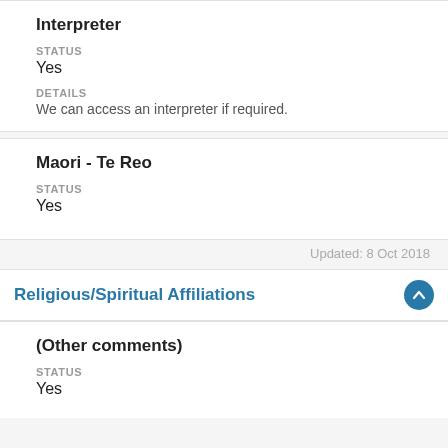Interpreter
STATUS
Yes
DETAILS
We can access an interpreter if required.
Maori - Te Reo
STATUS
Yes
Updated: 8 Oct 2018
Religious/Spiritual Affiliations
(Other comments)
STATUS
Yes